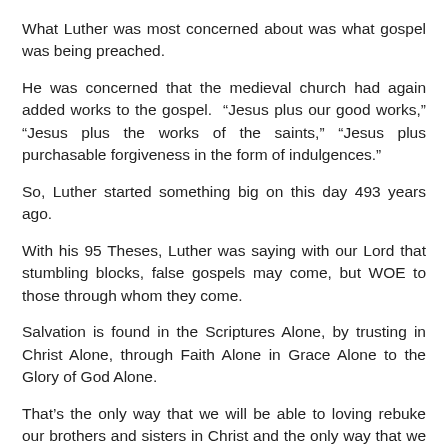What Luther was most concerned about was what gospel was being preached.
He was concerned that the medieval church had again added works to the gospel. “Jesus plus our good works,” “Jesus plus the works of the saints,” “Jesus plus purchasable forgiveness in the form of indulgences.”
So, Luther started something big on this day 493 years ago.
With his 95 Theses, Luther was saying with our Lord that stumbling blocks, false gospels may come, but WOE to those through whom they come.
Salvation is found in the Scriptures Alone, by trusting in Christ Alone, through Faith Alone in Grace Alone to the Glory of God Alone.
That’s the only way that we will be able to loving rebuke our brothers and sisters in Christ and the only way that we can forgive them–because of the forgiveness that Jesus gives